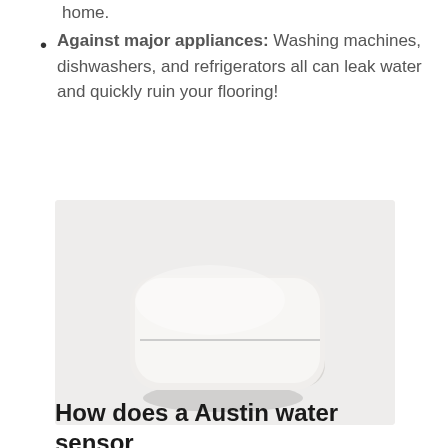home.
Against major appliances: Washing machines, dishwashers, and refrigerators all can leak water and quickly ruin your flooring!
[Figure (photo): A small white square water sensor device with rounded corners, photographed on a white background with soft shadow beneath it.]
How does a Austin water sensor work?